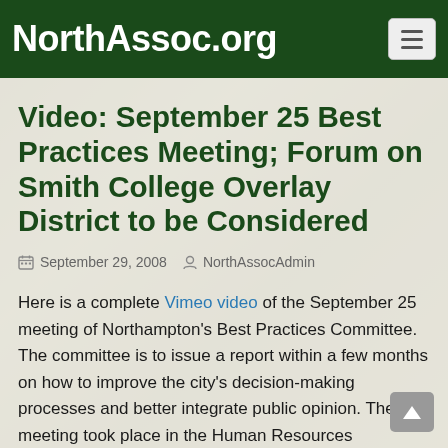NorthAssoc.org
Video: September 25 Best Practices Meeting; Forum on Smith College Overlay District to be Considered
September 29, 2008  NorthAssocAdmin
Here is a complete Vimeo video of the September 25 meeting of Northampton's Best Practices Committee. The committee is to issue a report within a few months on how to improve the city's decision-making processes and better integrate public opinion. The meeting took place in the Human Resources